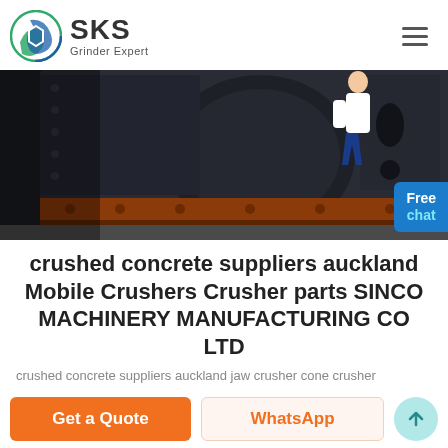SKS Grinder Expert
[Figure (photo): Close-up of industrial crusher machinery with dark metal body, bolted plates, and an orange/brown rail along the bottom. A Free chat badge overlay is visible at the bottom right.]
crushed concrete suppliers auckland Mobile Crushers Crusher parts SINCO MACHINERY MANUFACTURING CO LTD
crushed concrete suppliers auckland jaw crusher cone crusher
Get a Quote  WhatsApp